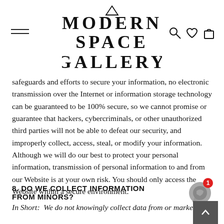MODERN SPACE GALLERY
safeguards and efforts to secure your information, no electronic transmission over the Internet or information storage technology can be guaranteed to be 100% secure, so we cannot promise or guarantee that hackers, cybercriminals, or other unauthorized third parties will not be able to defeat our security, and improperly collect, access, steal, or modify your information. Although we will do our best to protect your personal information, transmission of personal information to and from our Website is at your own risk. You should only access the Website within a secure environment.
8. DO WE COLLECT INFORMATION FROM MINORS?
In Short:  We do not knowingly collect data from or market to